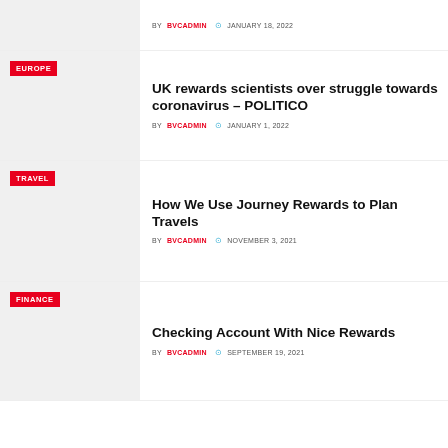BY BVCADMIN · JANUARY 18, 2022
UK rewards scientists over struggle towards coronavirus – POLITICO
BY BVCADMIN · JANUARY 1, 2022
How We Use Journey Rewards to Plan Travels
BY BVCADMIN · NOVEMBER 3, 2021
Checking Account With Nice Rewards
BY BVCADMIN · SEPTEMBER 19, 2021